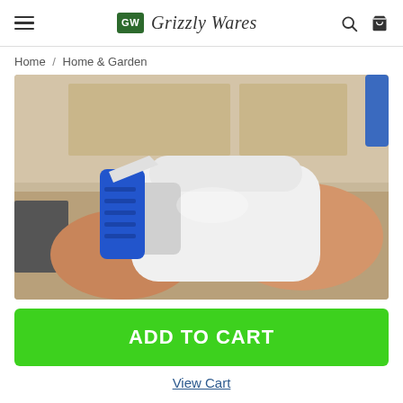GW Grizzly Wares
Home / Home & Garden
[Figure (photo): Person holding a white plastic spray bottle with a blue trigger, in a kitchen setting. The product is a spray bottle/cleaner.]
ADD TO CART
View Cart